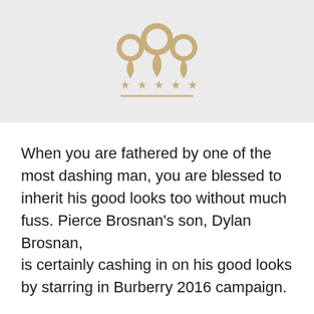[Figure (logo): A golden/tan colored logo showing three location pin icons arranged with one tall center pin and two shorter side pins, below which are five stars and a horizontal line underneath.]
When you are fathered by one of the most dashing man, you are blessed to inherit his good looks too without much fuss. Pierce Brosnan's son, Dylan Brosnan, is certainly cashing in on his good looks by starring in Burberry 2016 campaign.